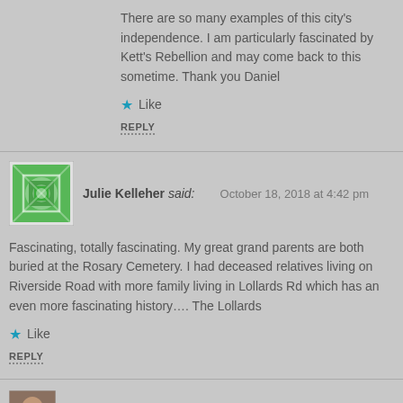There are so many examples of this city's independence. I am particularly fascinated by Kett's Rebellion and may come back to this sometime. Thank you Daniel
Like
REPLY
Julie Kelleher said: October 18, 2018 at 4:42 pm
Fascinating, totally fascinating. My great grand parents are both buried at the Rosary Cemetery. I had deceased relatives living on Riverside Road with more family living in Lollards Rd which has an even more fascinating history…. The Lollards
Like
REPLY
reggie unthank said: